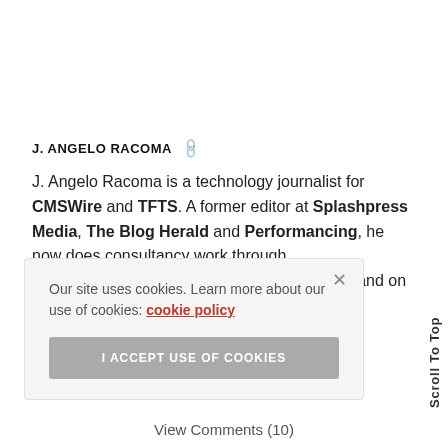J. ANGELO RACOMA
J. Angelo Racoma is a technology journalist for CMSWire and TFTS. A former editor at Splashpress Media, The Blog Herald and Performancing, he now does consultancy work through WorkSmartr.com. Follow him at racoma.net and on Twitter.
Our site uses cookies. Learn more about our use of cookies: cookie policy
I ACCEPT USE OF COOKIES
Scroll To Top
View Comments (10)